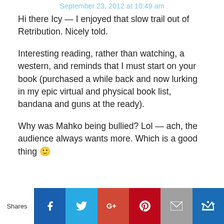September 23, 2012 at 10:49 am
Hi there Icy — I enjoyed that slow trail out of Retribution. Nicely told.
Interesting reading, rather than watching, a western, and reminds that I must start on your book (purchased a while back and now lurking in my epic virtual and physical book list, bandana and guns at the ready).
Why was Mahko being bullied? Lol — ach, the audience always wants more. Which is a good thing 🙂